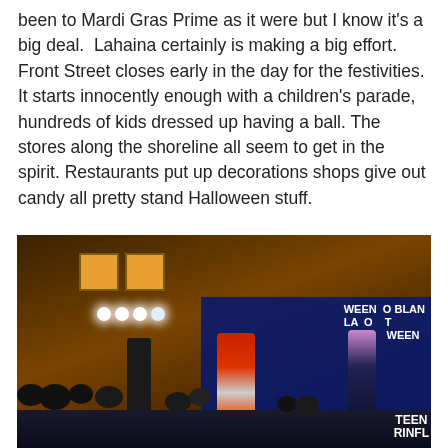been to Mardi Gras Prime as it were but I know it's a big deal.  Lahaina certainly is making a big effort. Front Street closes early in the day for the festivities. It starts innocently enough with a children's parade, hundreds of kids dressed up having a ball. The stores along the shoreline all seem to get in the spirit. Restaurants put up decorations shops give out candy all pretty stand Halloween stuff.
[Figure (photo): Night scene of a Halloween event on stage in Lahaina, Front Street. Performers in costumes including Iron Man and a singer on stage with blue Halloween banners/signage behind them. Bright stage lights, audience silhouettes in foreground, building with lit windows in background.]